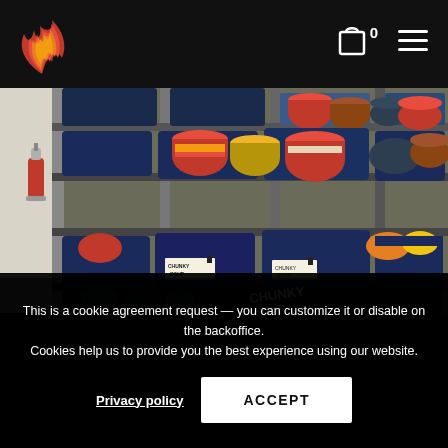[Figure (logo): Flame logo icon in red and orange on black header background]
[Figure (photo): Food bank storage shelves with canned goods in blue bins/trays, labels including 'CHUNKY SOUP', fire extinguisher visible on left wall]
This is a cookie agreement request — you can customize it or disable on the backoffice. Cookies help us to provide you the best experience using our website.
Privacy policy
ACCEPT